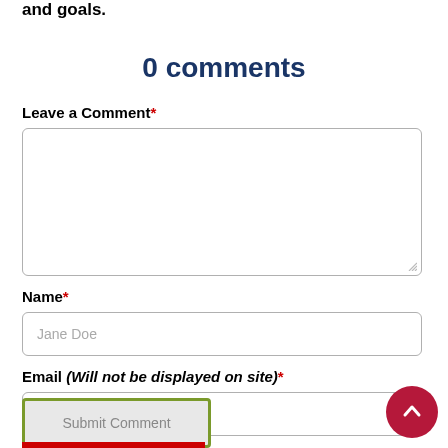and goals.
0 comments
Leave a Comment*
Name*
Email (Will not be displayed on site)*